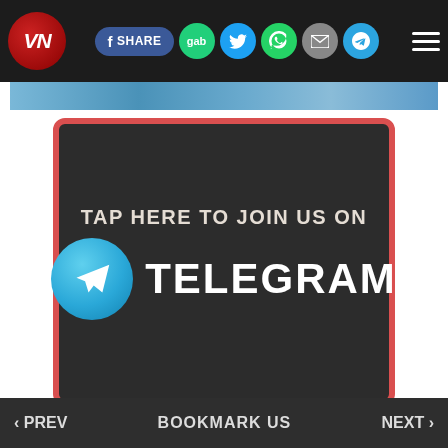VN | Share | gab | Twitter | WhatsApp | Email | Telegram | Menu
[Figure (screenshot): Thin image strip at top below nav bar]
[Figure (infographic): TAP HERE TO JOIN US ON TELEGRAM banner with dark background and red border, featuring Telegram logo circle and large TELEGRAM text]
Around the Web
Sponsored by Revcontent
[Figure (photo): Close-up illustration/artwork of skin/neck area with warm orange-brown tones]
‹ PREV   BOOKMARK US   NEXT ›